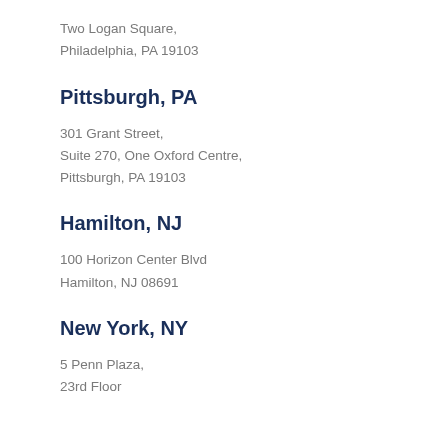Two Logan Square,
Philadelphia, PA 19103
Pittsburgh, PA
301 Grant Street,
Suite 270, One Oxford Centre,
Pittsburgh, PA 19103
Hamilton, NJ
100 Horizon Center Blvd
Hamilton, NJ 08691
New York, NY
5 Penn Plaza,
23rd Floor